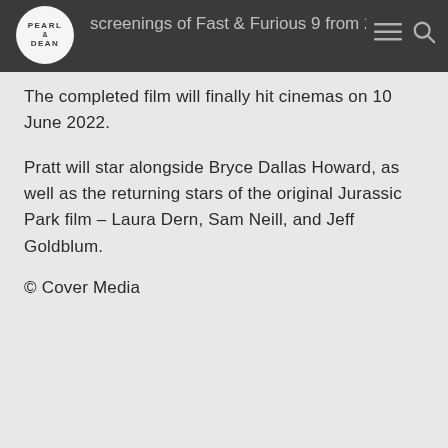screenings of Fast & Furious 9 from 25 June.
The completed film will finally hit cinemas on 10 June 2022.
Pratt will star alongside Bryce Dallas Howard, as well as the returning stars of the original Jurassic Park film – Laura Dern, Sam Neill, and Jeff Goldblum.
© Cover Media